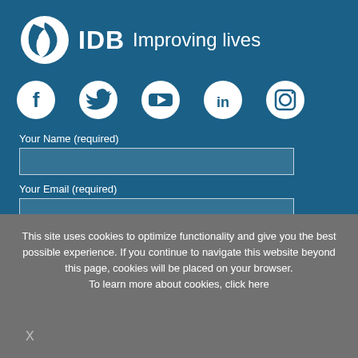[Figure (logo): IDB logo with globe/leaf icon and text 'IDB Improving lives' on blue background]
[Figure (infographic): Five social media icons in circles: Facebook, Twitter, YouTube, LinkedIn, Instagram]
Your Name (required)
Your Email (required)
This site uses cookies to optimize functionality and give you the best possible experience. If you continue to navigate this website beyond this page, cookies will be placed on your browser.
To learn more about cookies, click here